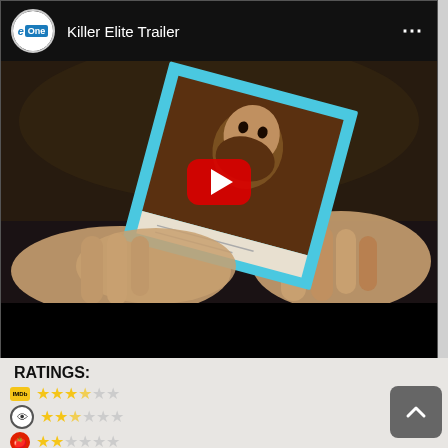[Figure (screenshot): YouTube video embed showing 'Killer Elite Trailer' with eOne channel logo, a thumbnail of hands holding a Polaroid photo of a face, and a red YouTube play button overlay. Below is a black bottom bar.]
RATINGS:
[Figure (infographic): Four rating rows with logos and star ratings: IMDb logo with 3.5/5 stars, eye/critic logo with 2.5/5 stars, tomato logo with 2/5 stars, TH logo with 4/5 stars]
[Figure (other): Scroll-to-top button (chevron up) in bottom right corner]